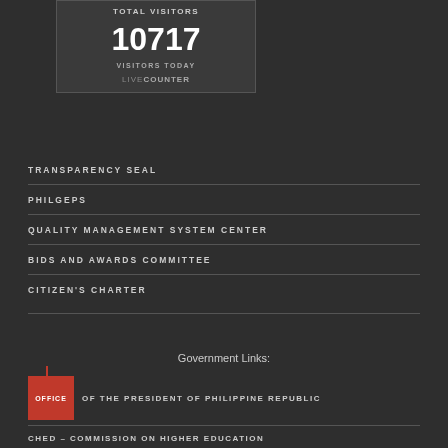[Figure (infographic): Live counter widget showing 10717 visitors today on dark background]
TRANSPARENCY SEAL
PhilGEPS
QUALITY MANAGEMENT SYSTEM CENTER
BIDS AND AWARDS COMMITTEE
CITIZEN'S CHARTER
Government Links:
OFFICE OF THE PRESIDENT OF PHILIPPINE REPUBLIC
CHED – COMMISSION ON HIGHER EDUCATION